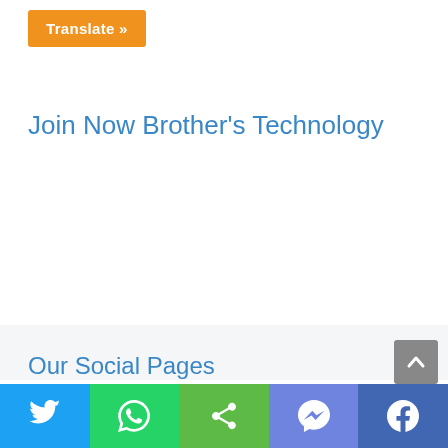Translate »
Join Now Brother's Technology
Our Social Pages
[Figure (other): Social share bar with Twitter, WhatsApp, Share, Messenger, and Facebook buttons at bottom of page]